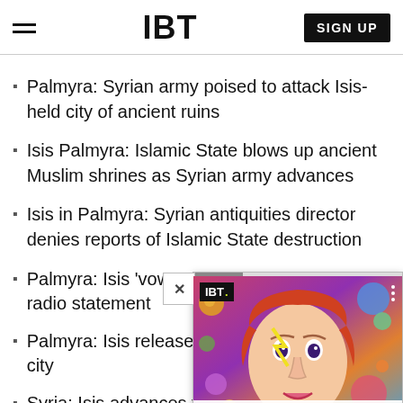IBT | SIGN UP
Palmyra: Syrian army poised to attack Isis-held city of ancient ruins
Isis Palmyra: Islamic State blows up ancient Muslim shrines as Syrian army advances
Isis in Palmyra: Syrian antiquities director denies reports of Islamic State destruction
Palmyra: Isis 'vows to destroy s… radio statement
Palmyra: Isis releases first 'tour… city
Syria: Isis advances towards Damascus after Palmyra
[Figure (screenshot): IBT video popup overlay showing David Bowie-like face with colorful makeup and planets/bubbles in background. Caption reads 'NewSpiderGenus,Se...' with IBT branding and close button.]